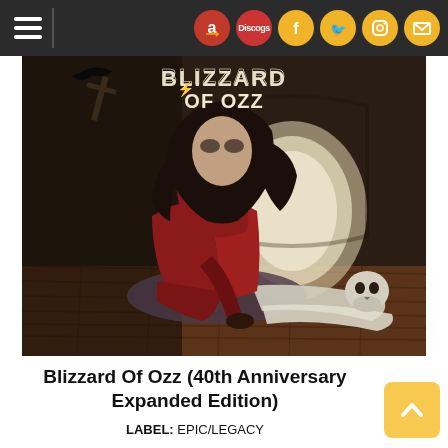[Figure (screenshot): Website navigation bar with hamburger menu on left and social/shopping icons (Amazon, Discogs, Facebook, Twitter, Instagram, Mail) on right against dark background]
[Figure (photo): Album cover for Blizzard of Ozz - a person in a red and white outfit sitting/lying on a wooden floor, long dark hair, with a skull and other props, with text BLIZZARD OF OZZ at top]
Blizzard Of Ozz (40th Anniversary Expanded Edition)
LABEL: EPIC/LEGACY
[Figure (other): Gold/yellow scroll-to-top button with upward arrow chevron]